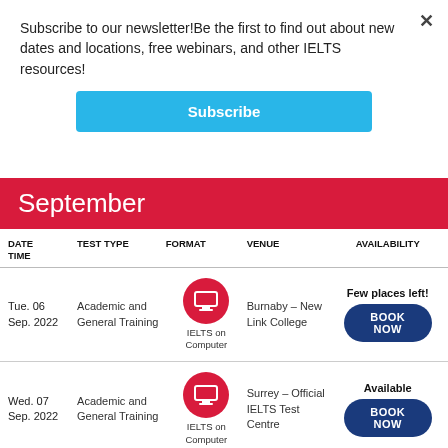Subscribe to our newsletter!Be the first to find out about new dates and locations, free webinars, and other IELTS resources!
Subscribe
September
| DATE TIME | TEST TYPE | FORMAT | VENUE | AVAILABILITY |
| --- | --- | --- | --- | --- |
| Tue. 06 Sep. 2022 | Academic and General Training | IELTS on Computer | Burnaby – New Link College | Few places left! BOOK NOW |
| Wed. 07 Sep. 2022 | Academic and General Training | IELTS on Computer | Surrey – Official IELTS Test Centre | Available BOOK NOW |